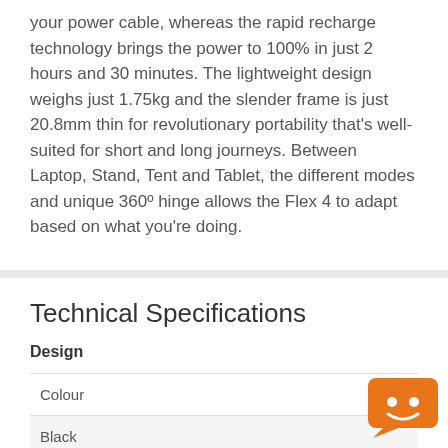your power cable, whereas the rapid recharge technology brings the power to 100% in just 2 hours and 30 minutes. The lightweight design weighs just 1.75kg and the slender frame is just 20.8mm thin for revolutionary portability that's well-suited for short and long journeys. Between Laptop, Stand, Tent and Tablet, the different modes and unique 360º hinge allows the Flex 4 to adapt based on what you're doing.
Technical Specifications
Design
| Colour |
| Black |
[Figure (illustration): Orange chat/messenger icon with a smiley face]